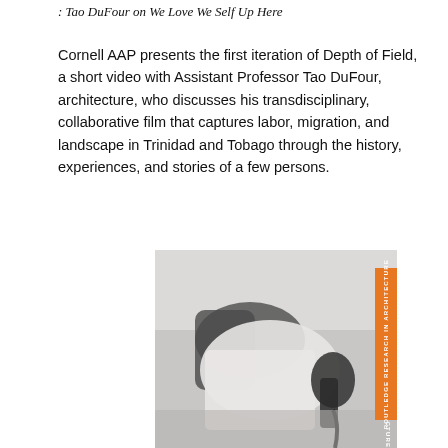: Tao DuFour on We Love We Self Up Here
Cornell AAP presents the first iteration of Depth of Field, a short video with Assistant Professor Tao DuFour, architecture, who discusses his transdisciplinary, collaborative film that captures labor, migration, and landscape in Trinidad and Tobago through the history, experiences, and stories of a few persons.
[Figure (photo): Grayscale photograph of hands holding what appears to be a transparent or white material, with an orange vertical banner on the right side reading 'ROUTLEDGE RESEARCH IN ARCHITECTURE']